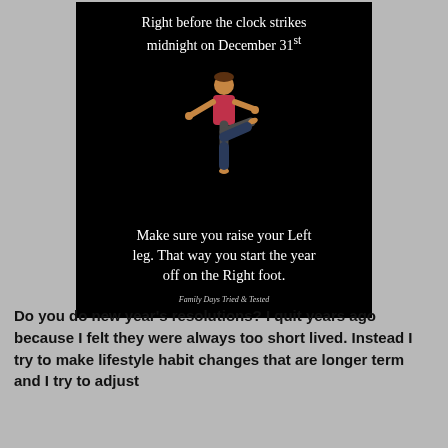[Figure (infographic): Black background card with white text and a yoga/balance pose illustration. Top text: 'Right before the clock strikes midnight on December 31st'. Center illustration of a person balancing on one leg with arm extended. Bottom text: 'Make sure you raise your Left leg. That way you start the year off on the Right foot.' Attribution: 'Family Days Tried & Tested']
Do you do new year's resolutions? I quit years ago because I felt they were always too short lived. Instead I try to make lifestyle habit changes that are longer term and I try to adjust